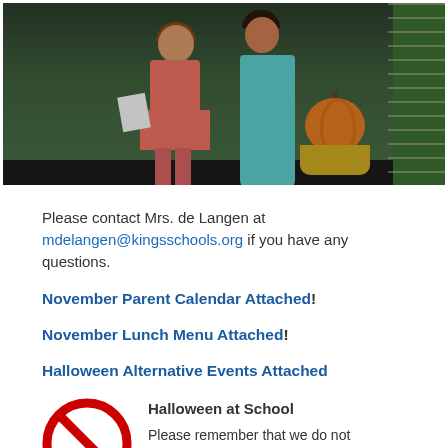[Figure (photo): Photo of children in Halloween costumes, one holding a pumpkin, standing near a chain-link fence outdoors.]
Please contact Mrs. de Langen at mdelangen@kingsschools.org if you have any questions.
November Parent Calendar Attached!
November Lunch Menu Attached!
Halloween Alternative Events Attached
[Figure (illustration): Red circle with diagonal slash (no/prohibited symbol)]
Halloween at School
Please remember that we do not celebrate Halloween at school. No costumes are to be worn to school and we do not have Halloween treats or parties in classes.